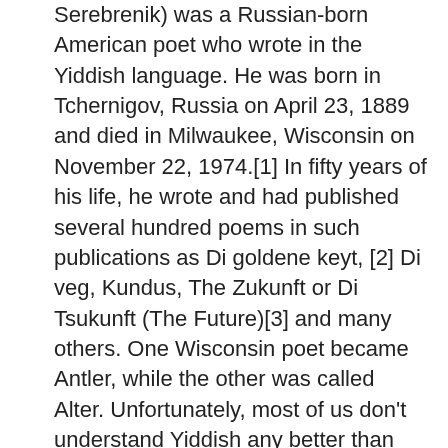Serebrenik) was a Russian-born American poet who wrote in the Yiddish language. He was born in Tchernigov, Russia on April 23, 1889 and died in Milwaukee, Wisconsin on November 22, 1974.[1] In fifty years of his life, he wrote and had published several hundred poems in such publications as Di goldene keyt, [2] Di veg, Kundus, The Zukunft or Di Tsukunft (The Future)[3] and many others. One Wisconsin poet became Antler, while the other was called Alter. Unfortunately, most of us don't understand Yiddish any better than we understand deer language. Carlotta Perry — poet Carlotta Perry (1839 in Michigan - 1914 in Chicago) was among a group of premier women poets of the late 19th century. Her poems, children's stories, and short stories were published in many of the most read publications of the time including Harper's Magazine, Godey's Lady's Book and Lippincott's Monthly Magazine. Some of her verse can still be found today in Christian newsletters and even in an ad for a